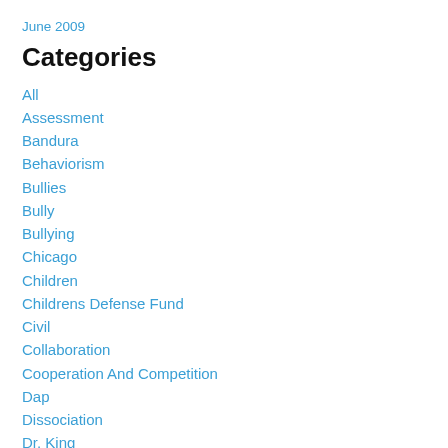June 2009
Categories
All
Assessment
Bandura
Behaviorism
Bullies
Bully
Bullying
Chicago
Children
Childrens Defense Fund
Civil
Collaboration
Cooperation And Competition
Dap
Dissociation
Dr. King
Duncan
Education